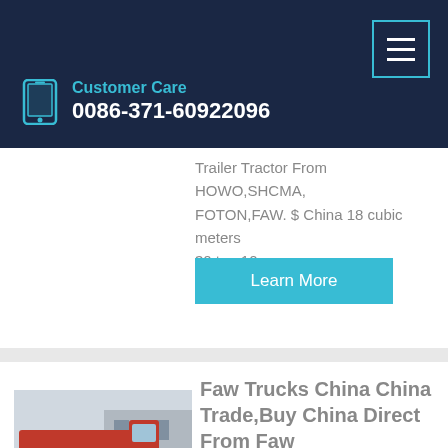Customer Care 0086-371-60922096
Trailer Tractor From HOWO,SHCMA,FOTON,FAW. $ China 18 cubic meters 30 ton 10 ...
Learn More
Faw Trucks China China Trade,Buy China Direct From Faw
Kefid · Second-Hand China FAW 380HP 6X4 Tipper Dump Truck. Used Faw Dump Trucks for sale, FAW